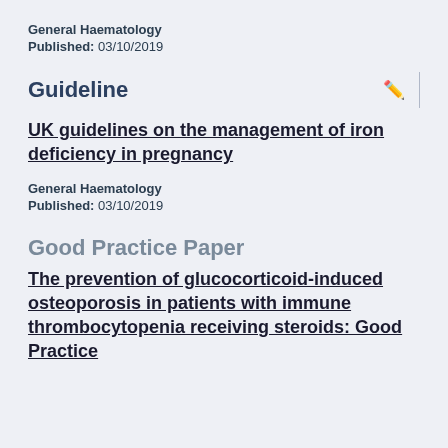General Haematology
Published: 03/10/2019
Guideline
UK guidelines on the management of iron deficiency in pregnancy
General Haematology
Published: 03/10/2019
Good Practice Paper
The prevention of glucocorticoid-induced osteoporosis in patients with immune thrombocytopenia receiving steroids: Good Practice